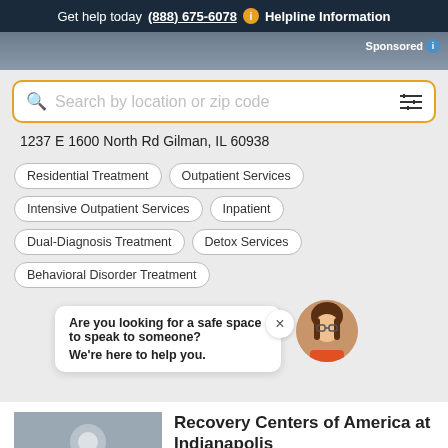Get help today (888) 675-6078  Helpline Information
[Figure (photo): Background photo of building exterior, partially visible at top with 'Sponsored' badge]
Search by location or zip code
1237 E 1600 North Rd Gilman, IL 60938
Residential Treatment
Outpatient Services
Intensive Outpatient Services
Inpatient
Dual-Diagnosis Treatment
Detox Services
Behavioral Disorder Treatment
Are you looking for a safe space to speak to someone?
We're here to help you.
[Figure (illustration): Avatar of a cartoon woman with brown hair and glasses, orange shirt]
Recovery Centers of America at Indianapolis
8530 Township Line Road
- 103 Miles
Your Next Steps